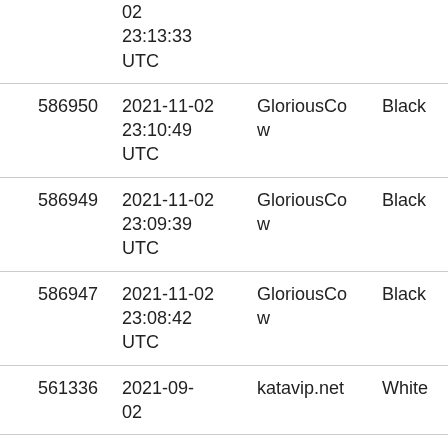| ID | Date/Time | User | Color | Hash |
| --- | --- | --- | --- | --- |
|  | 02
23:13:33
UTC |  |  | s730
d106 |
| 586950 | 2021-11-02
23:10:49
UTC | GloriousCow | Black | b6c9
s730
d106 |
| 586949 | 2021-11-02
23:09:39
UTC | GloriousCow | Black | b6c9
s730
d106 |
| 586947 | 2021-11-02
23:08:42
UTC | GloriousCow | Black | b6c9
s730
d106 |
| 561336 | 2021-09-02 | katavip.net | White | b6c9 |